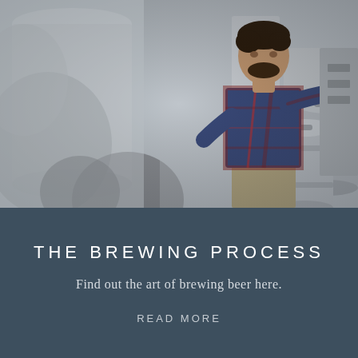[Figure (photo): A man in a plaid flannel shirt working at brewing equipment in a brewery, surrounded by large metal tanks and stainless steel kegs]
THE BREWING PROCESS
Find out the art of brewing beer here.
READ MORE